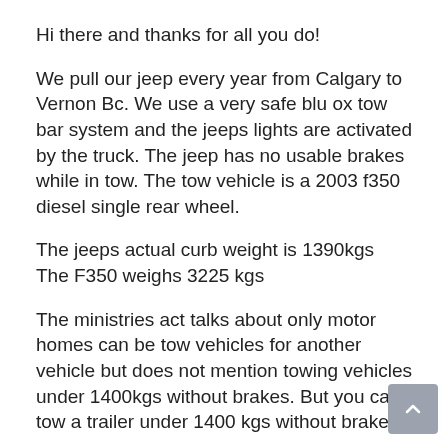Hi there and thanks for all you do!
We pull our jeep every year from Calgary to Vernon Bc. We use a very safe blu ox tow bar system and the jeeps lights are activated by the truck. The jeep has no usable brakes while in tow. The tow vehicle is a 2003 f350 diesel single rear wheel.
The jeeps actual curb weight is 1390kgs
The F350 weighs 3225 kgs
The ministries act talks about only motor homes can be tow vehicles for another vehicle but does not mention towing vehicles under 1400kgs without brakes. But you can tow a trailer under 1400 kgs without brakes.